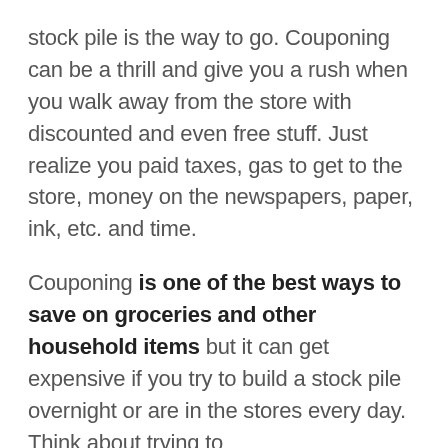stock pile is the way to go. Couponing can be a thrill and give you a rush when you walk away from the store with discounted and even free stuff. Just realize you paid taxes, gas to get to the store, money on the newspapers, paper, ink, etc. and time.
Couponing is one of the best ways to save on groceries and other household items but it can get expensive if you try to build a stock pile overnight or are in the stores every day. Think about trying to